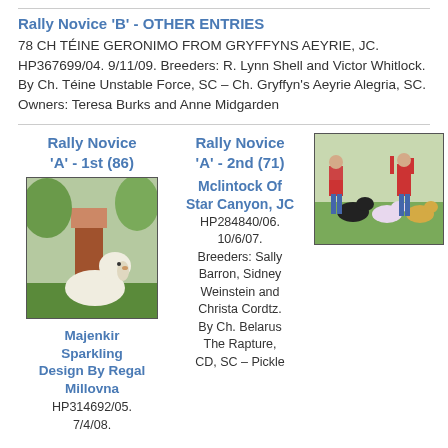Rally Novice 'B' - OTHER ENTRIES
78 CH TÉINE GERONIMO FROM GRYFFYNS AEYRIE, JC. HP367699/04. 9/11/09. Breeders: R. Lynn Shell and Victor Whitlock. By Ch. Téine Unstable Force, SC – Ch. Gryffyn's Aeyrie Alegria, SC. Owners: Teresa Burks and Anne Midgarden
Rally Novice 'A' - 1st (86)
[Figure (photo): White dog sitting with a person in brown pants outdoors]
Majenkir Sparkling Design By Regal Millovna HP314692/05. 7/4/08.
Rally Novice 'A' - 2nd (71)
Mclintock Of Star Canyon, JC HP284840/06. 10/6/07. Breeders: Sally Barron, Sidney Weinstein and Christa Cordtz. By Ch. Belarus The Rapture, CD, SC – Pickle
[Figure (photo): Action photo of people in red jackets with dogs on a field]